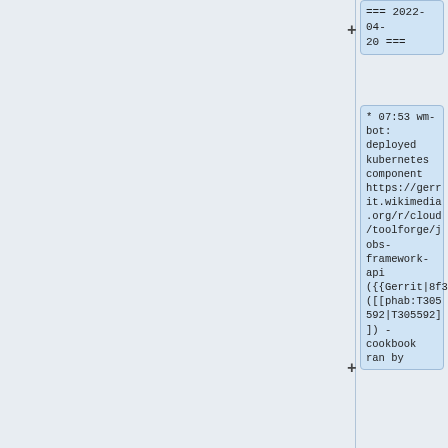=== 2022-04-20 ===
* 07:53 wm-bot: deployed kubernetes component https://gerrit.wikimedia.org/r/cloud/toolforge/jobs-framework-api ({{Gerrit|8f37a04}}) ([[phab:T305592|T305592]]) - cookbook ran by